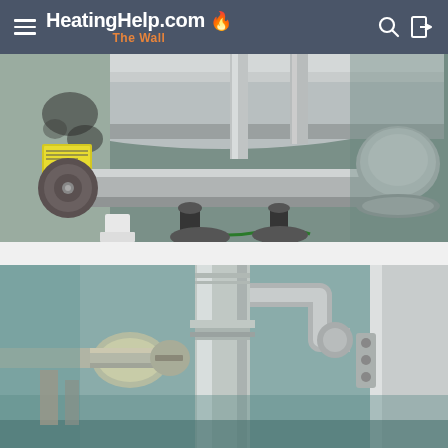HeatingHelp.com — The Wall
[Figure (photo): Close-up photograph of industrial heating system components: large metal pipes, cylindrical boiler/pressure vessel with visible corrosion staining and a yellow label sticker, foam-insulated pipe end cap on the left, and a spherical union fitting on the right. Piping system with black drain fittings visible at the bottom.]
[Figure (photo): Close-up photograph of heating system pipe connections showing ball valves, threaded pipe fittings, elbow joints, and large vertical cylindrical pipe/tank. Background shows teal-painted equipment surface and various plumbing components.]